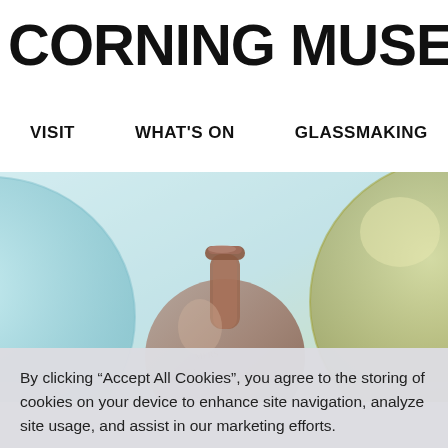CORNING MUSEUM OF GLA
VISIT   WHAT'S ON   GLASSMAKING   LEARN
[Figure (photo): Close-up photograph of antique glass bottles including a pale blue/teal round bottle on the left, a brown/amber tall-necked bottle in the center, and a large olive/amber round bottle on the right, against a light background.]
By clicking “Accept All Cookies”, you agree to the storing of cookies on your device to enhance site navigation, analyze site usage, and assist in our marketing efforts.